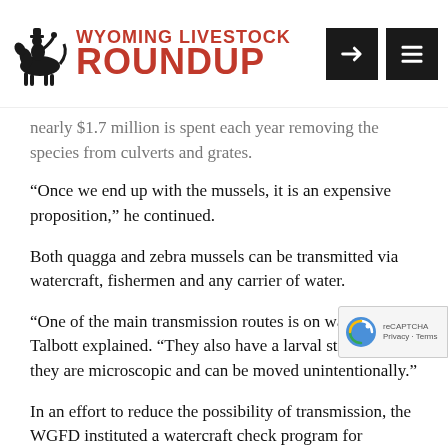Wyoming Livestock Roundup
nearly $1.7 million is spent each year removing the species from culverts and grates.
“Once we end up with the mussels, it is an expensive proposition,” he continued.
Both quagga and zebra mussels can be transmitted via watercraft, fishermen and any carrier of water.
“One of the main transmission routes is on watercraft,” Talbott explained. “They also have a larval stage where they are microscopic and can be moved unintentionally.”
In an effort to reduce the possibility of transmission, the WGFD instituted a watercraft check program for